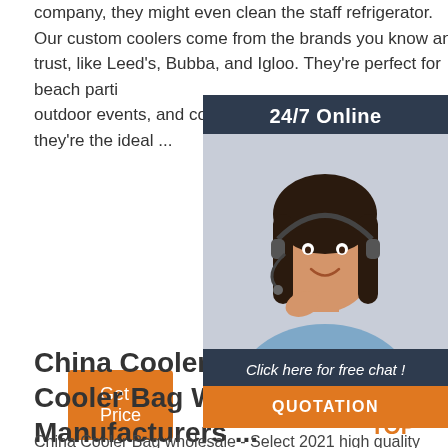company, they might even clean the staff refrigerator. Our custom coolers come from the brands you know and trust, like Leed's, Bubba, and Igloo. They're perfect for beach parties, outdoor events, and concerts, they're the ideal ...
[Figure (infographic): 24/7 Online chat widget with a photo of a woman wearing a headset, 'Click here for free chat!' text, and an orange QUOTATION button]
Get Price
China Cooler Bag, Cooler Bag Wholesale, Manufacturers ...
[Figure (logo): TOP logo/icon in orange with dots above spelling out TOP]
China Cooler Bag wholesale - Select 2021 high quality Cooler Bag products in best price from certified Chinese